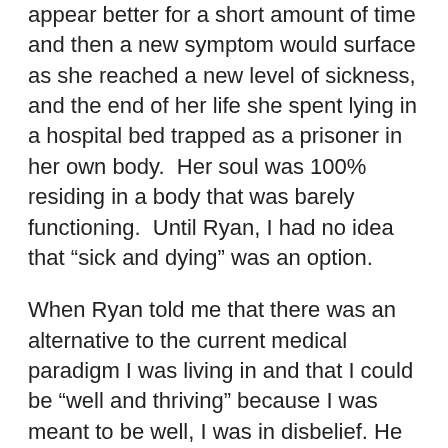appear better for a short amount of time and then a new symptom would surface as she reached a new level of sickness, and the end of her life she spent lying in a hospital bed trapped as a prisoner in her own body.  Her soul was 100% residing in a body that was barely functioning.  Until Ryan, I had no idea that “sick and dying” was an option.
When Ryan told me that there was an alternative to the current medical paradigm I was living in and that I could be “well and thriving” because I was meant to be well, I was in disbelief. He went on to tell me that